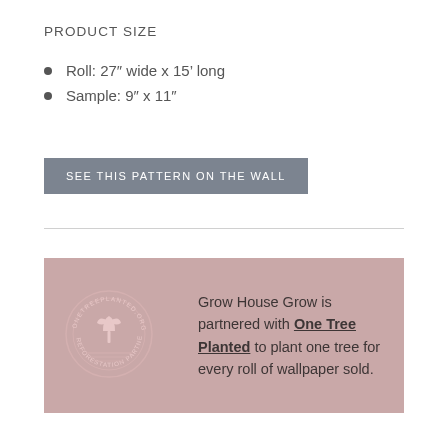PRODUCT SIZE
Roll: 27" wide x 15’ long
Sample: 9" x 11"
SEE THIS PATTERN ON THE WALL
Grow House Grow is partnered with One Tree Planted to plant one tree for every roll of wallpaper sold.